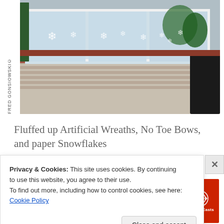[Figure (photo): Photo of a brick building exterior with green shutters and large windows decorated with paper snowflake cutouts. Watermark text 'FRED GONSIOWSKI©' visible vertically on left side.]
Fluffed up Artificial Wreaths, No Toe Bows, and paper Snowflakes
Advertisements
[Figure (photo): Pocket Casts advertisement banner: red background with phone showing 'Distributed' podcast app. Text: 'An app by listeners, for listeners.' Pocket Casts logo on right.]
So there you have it... Wreath Fluffing / Reshaping 101
Privacy & Cookies: This site uses cookies. By continuing to use this website, you agree to their use.
To find out more, including how to control cookies, see here: Cookie Policy
Close and accept